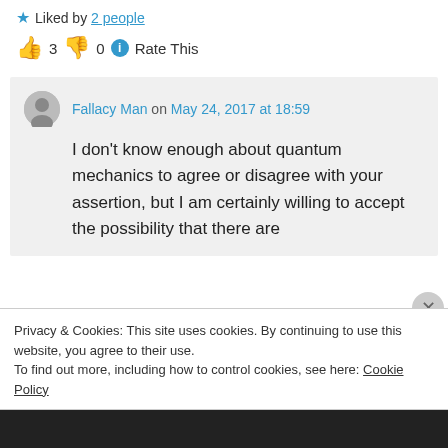Liked by 2 people
👍 3 👎 0 ℹ Rate This
Fallacy Man on May 24, 2017 at 18:59
I don't know enough about quantum mechanics to agree or disagree with your assertion, but I am certainly willing to accept the possibility that there are
Privacy & Cookies: This site uses cookies. By continuing to use this website, you agree to their use.
To find out more, including how to control cookies, see here: Cookie Policy
Close and accept